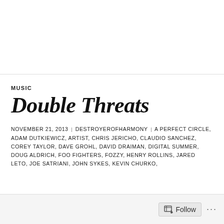MUSIC
Double Threats
NOVEMBER 21, 2013 | DESTROYEROFHARMONY | A PERFECT CIRCLE, ADAM DUTKIEWICZ, ARTIST, CHRIS JERICHO, CLAUDIO SANCHEZ, COREY TAYLOR, DAVE GROHL, DAVID DRAIMAN, DIGITAL SUMMER, DOUG ALDRICH, FOO FIGHTERS, FOZZY, HENRY ROLLINS, JARED LETO, JOE SATRIANI, JOHN SYKES, KEVIN CHURKO,
Follow ...